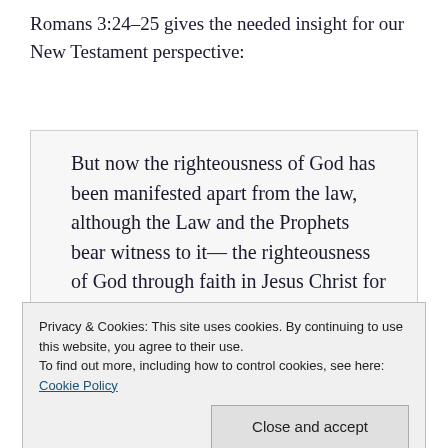Romans 3:24–25 gives the needed insight for our New Testament perspective:
But now the righteousness of God has been manifested apart from the law, although the Law and the Prophets bear witness to it— the righteousness of God through faith in Jesus Christ for all who believe. For there is no distinction: for all have sinned and fall short of the glory of God, and are justified by his grace as a gift,
Privacy & Cookies: This site uses cookies. By continuing to use this website, you agree to their use.
To find out more, including how to control cookies, see here: Cookie Policy
Close and accept
giving it as insight…